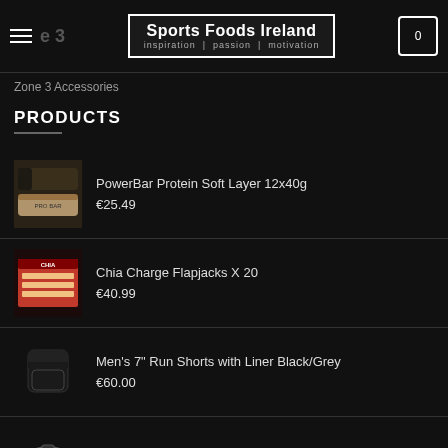Sports Foods Ireland — inspiration | passion | motivation
Zone 3 Accessories
PRODUCTS
PowerBar Protein Soft Layer 12x40g — €25.49
Chia Charge Flapjacks X 20 — €40.99
Men's 7" Run Shorts with Liner Black/Grey — €60.00
FotoFlex Goggles